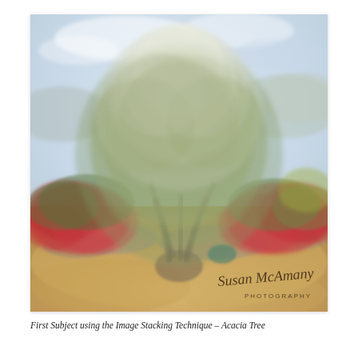[Figure (photo): A dreamlike, motion-blurred photograph of an Acacia tree with feathery grey-green foliage at the center, surrounded by bright red flowering shrubs, rocky ground cover, a sandy desert floor, and a hazy pale blue sky. The image has a soft, painterly appearance from image stacking. A cursive signature 'Susan McAmany PHOTOGRAPHY' appears in the lower right corner of the photo.]
First Subject using the Image Stacking Technique – Acacia Tree